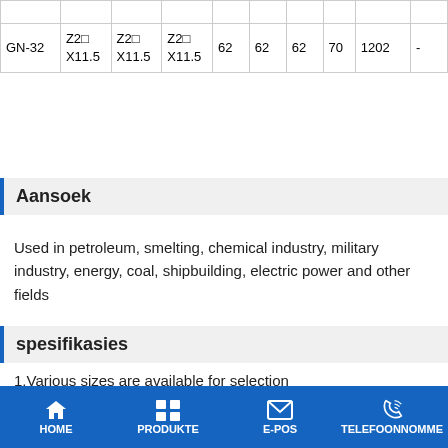|  |  |  |  |  |  |  |  |  |
| GN-32 | Z2□
X11.5 | Z2□
X11.5 | Z2□
X11.5 | 62 | 62 | 62 | 70 | 1202 | - |
Aansoek
Used in petroleum, smelting, chemical industry, military industry, energy, coal, shipbuilding, electric power and other fields
spesifikasies
1,Various sizes are available for selection
2,Hydraulic hose fittings can be able to efficiently...
HOME  PRODUKTE  E-POS  TELEFOONNOMME